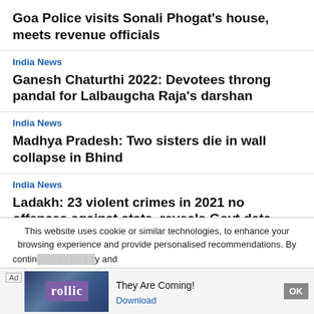Goa Police visits Sonali Phogat's house, meets revenue officials
India News
Ganesh Chaturthi 2022: Devotees throng pandal for Lalbaugcha Raja's darshan
India News
Madhya Pradesh: Two sisters die in wall collapse in Bhind
India News
Ladakh: 23 violent crimes in 2021 no offences against state, reveals Govt data
India News
This website uses cookie or similar technologies, to enhance your browsing experience and provide personalised recommendations. By contin… y and
Ad — They Are Coming! — Download — OK